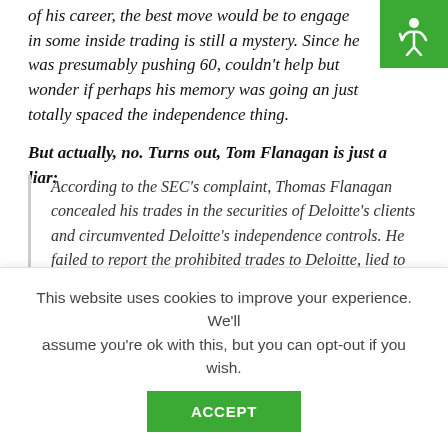of his career, the best move would be to engage in some inside trading is still a mystery. Since he was presumably pushing 60, couldn't help but wonder if perhaps his memory was going and just totally spaced the independence thing.
But actually, no. Turns out, Tom Flanagan is just a liar:
According to the SEC's complaint, Thomas Flanagan concealed his trades in the securities of Deloitte's clients and circumvented Deloitte's independence controls. He failed to report the prohibited trades to Deloitte, lied to Deloitte about his compliance with its independence policies, and provided false information to Deloitte's personal income tax preparers about the identity of the companies whose securities he traded.
This website uses cookies to improve your experience. We'll assume you're ok with this, but you can opt-out if you wish.